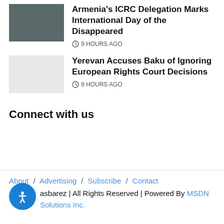Armenia's ICRC Delegation Marks International Day of the Disappeared
9 HOURS AGO
Yerevan Accuses Baku of Ignoring European Rights Court Decisions
9 HOURS AGO
Connect with us
About / Advertising / Subscribe / Contact
Asbarez | All Rights Reserved | Powered By MSDN Solutions Inc.